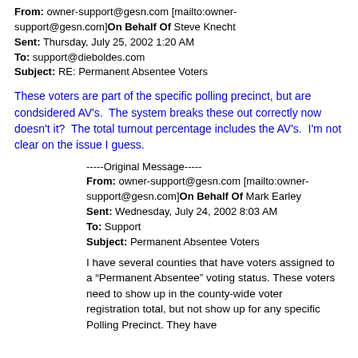From: owner-support@gesn.com [mailto:owner-support@gesn.com] On Behalf Of Steve Knecht
Sent: Thursday, July 25, 2002 1:20 AM
To: support@dieboldes.com
Subject: RE: Permanent Absentee Voters
These voters are part of the specific polling precinct, but are condsidered AV's.  The system breaks these out correctly now doesn't it?  The total turnout percentage includes the AV's.  I'm not clear on the issue I guess.
-----Original Message-----
From: owner-support@gesn.com [mailto:owner-support@gesn.com] On Behalf Of Mark Earley
Sent: Wednesday, July 24, 2002 8:03 AM
To: Support
Subject: Permanent Absentee Voters
I have several counties that have voters assigned to a “Permanent Absentee” voting status. These voters need to show up in the county-wide voter registration total, but not show up for any specific Polling Precinct. They have